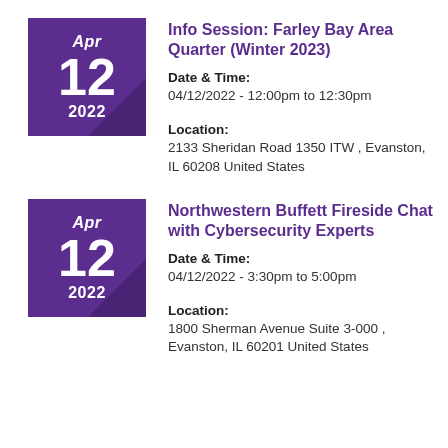Info Session: Farley Bay Area Quarter (Winter 2023)
Date & Time:
04/12/2022 - 12:00pm to 12:30pm
Location:
2133 Sheridan Road 1350 ITW , Evanston, IL 60208 United States
Northwestern Buffett Fireside Chat with Cybersecurity Experts
Date & Time:
04/12/2022 - 3:30pm to 5:00pm
Location:
1800 Sherman Avenue Suite 3-000 , Evanston, IL 60201 United States